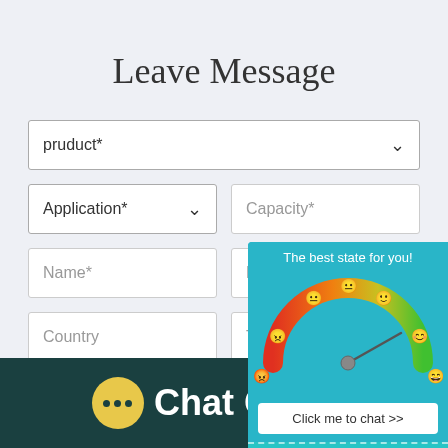Leave Message
pruduct*
Application*
Capacity*
Name*
E-mail*
Country
Tel
[Figure (infographic): A popup widget showing 'The best state for you!' with a gauge/speedometer graphic colored red to green, surrounding emoji faces, and a 'Click me to chat >>' button, plus partial 'Enquiry' text.]
Chat Online